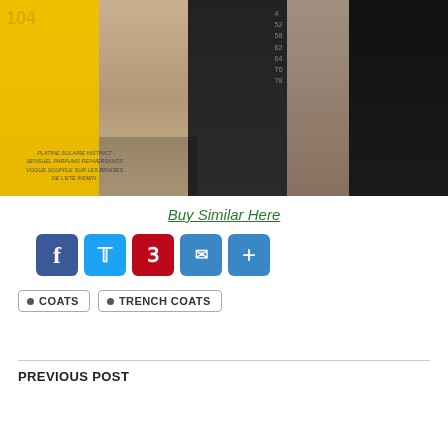[Figure (photo): Fashion collage showing a woman in a trench coat near a yellow taxi cab, dark skinny jeans on a mannequin, a burgundy handbag, tall black boots, fruits, sunflowers, and magazine clippings with French text reading PLATINE SOLAIRE INSTINCT SENSUEL PARFUMS RENVERSANTS VOGUE SOUFFLE SUR LES BRAISES DE L'ETE INDIEN.]
Buy Similar Here
[Figure (other): Social sharing buttons row: Facebook (blue), Twitter (light blue), Pinterest (red), Email (blue envelope), More/Plus (blue plus sign)]
COATS
TRENCH COATS
PREVIOUS POST